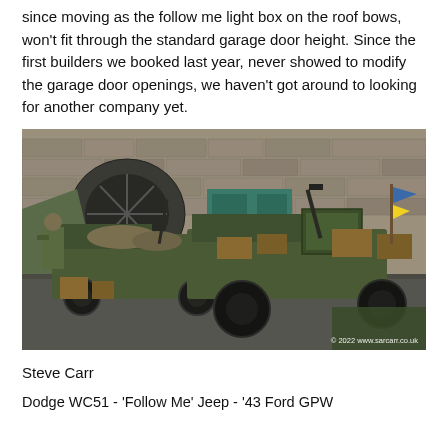since moving as the follow me light box on the roof bows, won't fit through the standard garage door height. Since the first builders we booked last year, never showed to modify the garage door openings, we haven't got around to looking for another company yet.
[Figure (photo): Outdoor scene showing two WWII-era military jeeps loaded with equipment, weapons, and supplies, parked against a stone wall with a green door. Soldiers in military gear visible. Flags including Ukrainian flag visible. Copyright 2022 www.sarcarr.co.uk watermark in bottom right.]
Steve Carr
Dodge WC51 - 'Follow Me' Jeep - '43 Ford GPW